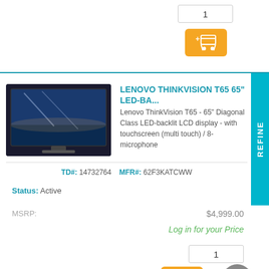1
[Figure (other): Orange add-to-cart button with cart icon]
LENOVO THINKVISION T65 65" LED-BA...
Lenovo ThinkVision T65 - 65" Diagonal Class LED-backlit LCD display - with touchscreen (multi touch) / 8-microphone
TD#: 14732764    MFR#: 62F3KATCWW
Status: Active
MSRP:
$4,999.00
Log in for your Price
1
[Figure (other): Orange add-to-cart button with cart icon]
[Figure (other): Gray back-to-top circular button with up arrow]